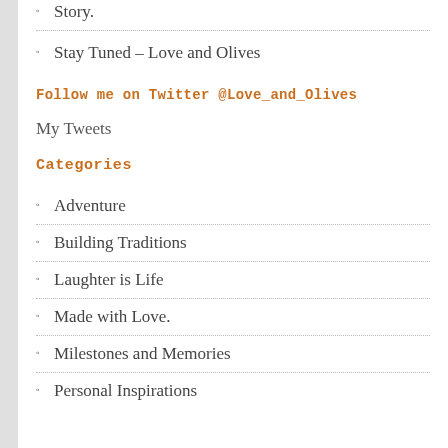Story.
Stay Tuned – Love and Olives
Follow me on Twitter @Love_and_Olives
My Tweets
Categories
Adventure
Building Traditions
Laughter is Life
Made with Love.
Milestones and Memories
Personal Inspirations